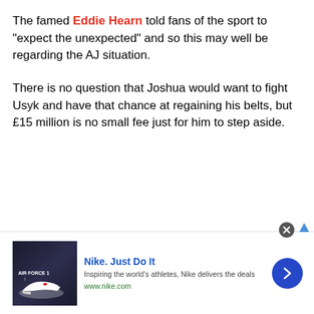The famed Eddie Hearn told fans of the sport to "expect the unexpected" and so this may well be regarding the AJ situation.
There is no question that Joshua would want to fight Usyk and have that chance at regaining his belts, but £15 million is no small fee just for him to step aside.
[Figure (other): Nike advertisement banner with shoe image, Nike Just Do It slogan, tagline 'Inspiring the world's athletes, Nike delivers the deals', www.nike.com URL, and a blue arrow button]